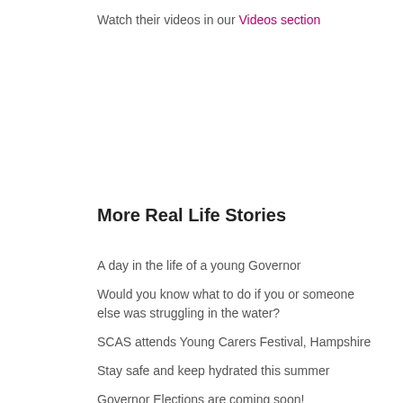Watch their videos in our Videos section
More Real Life Stories
A day in the life of a young Governor
Would you know what to do if you or someone else was struggling in the water?
SCAS attends Young Carers Festival, Hampshire
Stay safe and keep hydrated this summer
Governor Elections are coming soon!
Oxfordshire County Council 'Be Supported'